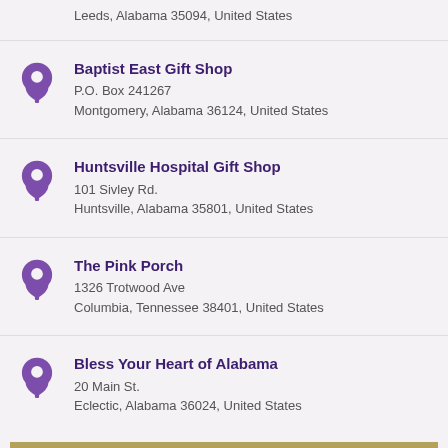Leeds, Alabama 35094, United States
Baptist East Gift Shop
P.O. Box 241267
Montgomery, Alabama 36124, United States
Huntsville Hospital Gift Shop
101 Sivley Rd.
Huntsville, Alabama 35801, United States
The Pink Porch
1326 Trotwood Ave
Columbia, Tennessee 38401, United States
Bless Your Heart of Alabama
20 Main St.
Eclectic, Alabama 36024, United States
UNLOCK YOUR OFFER